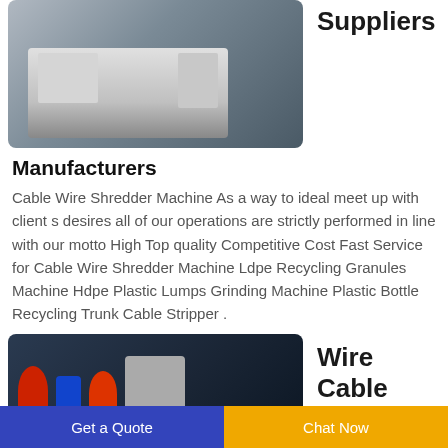[Figure (photo): Industrial cable wire shredder machine in a warehouse/outdoor setting, gray and white colored machinery on a platform]
Suppliers
Manufacturers
Cable Wire Shredder Machine As a way to ideal meet up with client s desires all of our operations are strictly performed in line with our motto High Top quality Competitive Cost Fast Service for Cable Wire Shredder Machine Ldpe Recycling Granules Machine Hdpe Plastic Lumps Grinding Machine Plastic Bottle Recycling Trunk Cable Stripper .
[Figure (photo): Industrial wire cable machinery with red and blue colored parts against a dark background]
Wire Cable
Get a Quote
Chat Now